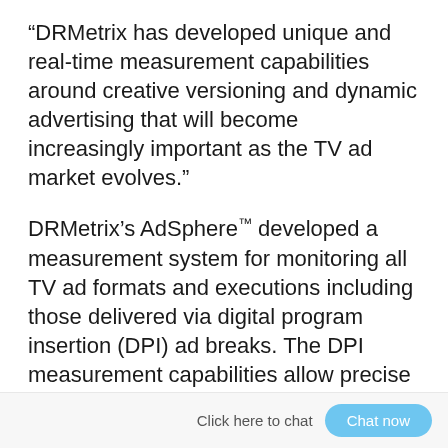“DRMetrix has developed unique and real-time measurement capabilities around creative versioning and dynamic advertising that will become increasingly important as the TV ad market evolves.”
DRMetrix’s AdSphere™ developed a measurement system for monitoring all TV ad formats and executions including those delivered via digital program insertion (DPI) ad breaks. The DPI measurement capabilities allow precise identification of ad creatives that are sold by the cable networks as “cover-ups,” which MVPDs inconsistently overlay with their own inventories.